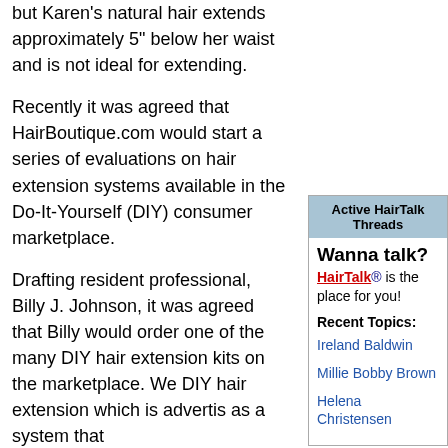but Karen's natural hair extends approximately 5" below her waist and is not ideal for extending.
Recently it was agreed that HairBoutique.com would start a series of evaluations on hair extension systems available in the Do-It-Yourself (DIY) consumer marketplace.
Drafting resident professional, Billy J. Johnson, it was agreed that Billy would order one of the many DIY hair extension kits on the marketplace. We DIY hair extension which is advertis as a system that
Active HairTalk Threads
Wanna talk?
HairTalk® is the place for you!
Recent Topics:
Ireland Baldwin
Millie Bobby Brown
Helena Christensen